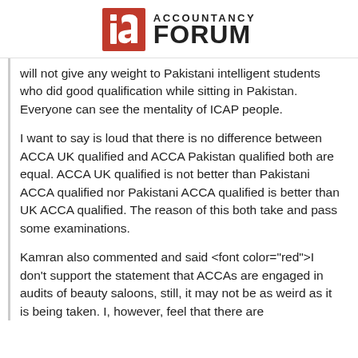[Figure (logo): Accountancy Forum logo with red 'ia' icon and bold text 'ACCOUNTANCY FORUM']
will not give any weight to Pakistani intelligent students who did good qualification while sitting in Pakistan. Everyone can see the mentality of ICAP people.
I want to say is loud that there is no difference between ACCA UK qualified and ACCA Pakistan qualified both are equal. ACCA UK qualified is not better than Pakistani ACCA qualified nor Pakistani ACCA qualified is better than UK ACCA qualified. The reason of this both take and pass some examinations.
Kamran also commented and said <font color="red">I don't support the statement that ACCAs are engaged in audits of beauty saloons, still, it may not be as weird as it is being taken. I, however, feel that there are